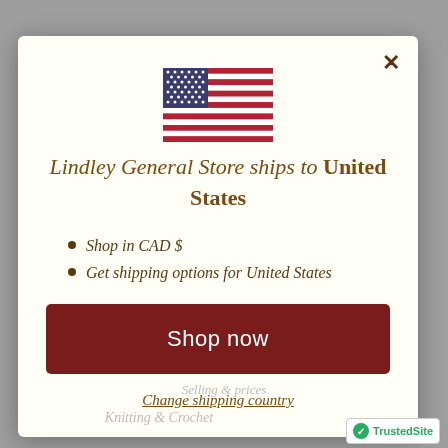[Figure (illustration): US flag SVG illustration centered at top of modal]
Lindley General Store ships to United States
Shop in CAD $
Get shipping options for United States
Shop now
Change shipping country
Knitting & Crochet
[Figure (logo): TrustedSite badge with green checkmark]